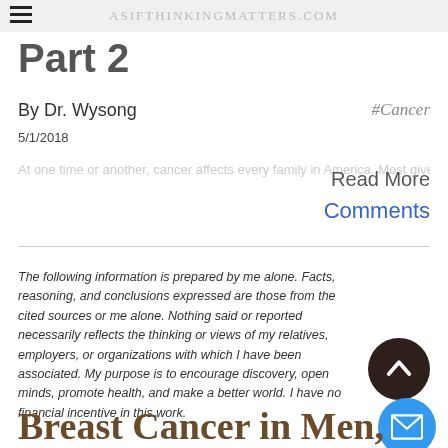AsIfThinkingMatters.com
Part 2
By Dr. Wysong
#Cancer
5/1/2018
At one time or another, cancer affects every family in America. Most give it no
Read More
Comments
The following information is prepared by me alone. Facts, reasoning, and conclusions expressed are those from the cited sources or me alone. Nothing said or reported necessarily reflects the thinking or views of my relatives, employers, or organizations with which I have been associated. My purpose is to encourage discovery, open minds, promote health, and make a better world. I have no financial incentive in this work.
Breast Cancer in Men,